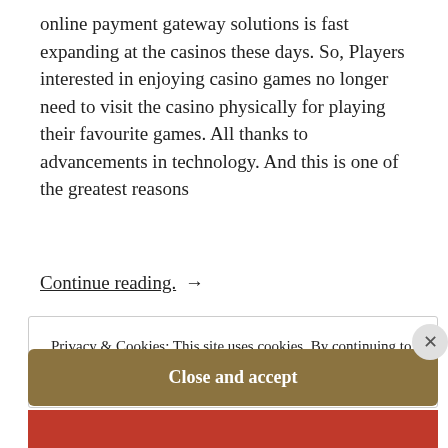online payment gateway solutions is fast expanding at the casinos these days. So, Players interested in enjoying casino games no longer need to visit the casino physically for playing their favourite games. All thanks to advancements in technology. And this is one of the greatest reasons
Continue reading. →
Privacy & Cookies: This site uses cookies. By continuing to use this website, you agree to their use.
To find out more, including how to control cookies, see here:
Cookie Policy
Close and accept